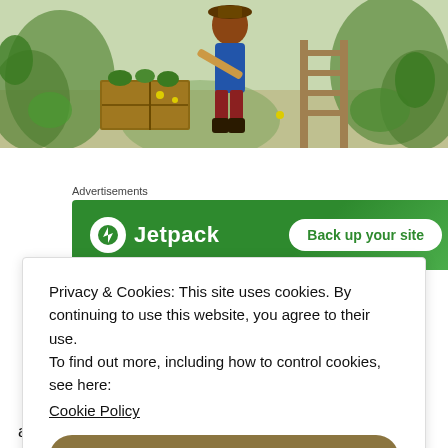[Figure (illustration): Historical colored illustration of a gardener working among plants and raised beds, wearing period clothing with plants and greenery surrounding them.]
Advertisements
[Figure (screenshot): Jetpack advertisement banner: green background with Jetpack logo and lightning bolt icon on left, 'Back up your site' white button on right.]
Privacy & Cookies: This site uses cookies. By continuing to use this website, you agree to their use.
To find out more, including how to control cookies, see here:
Cookie Policy

Close and accept
applied as an ointment in a plaster or as a poultice.